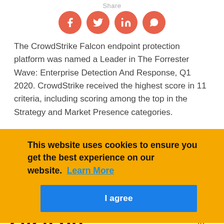Share
[Figure (infographic): Four circular social media share buttons (Facebook, Twitter, LinkedIn, WhatsApp) in coral/red-orange color with white icons]
The CrowdStrike Falcon endpoint protection platform was named a Leader in The Forrester Wave: Enterprise Detection And Response, Q1 2020. CrowdStrike received the highest score in 11 criteria, including scoring among the top in the Strategy and Market Presence categories.
This website uses cookies to ensure you get the best experience on our website. Learn More
I agree
Q1 Forrester Wave 2020 on